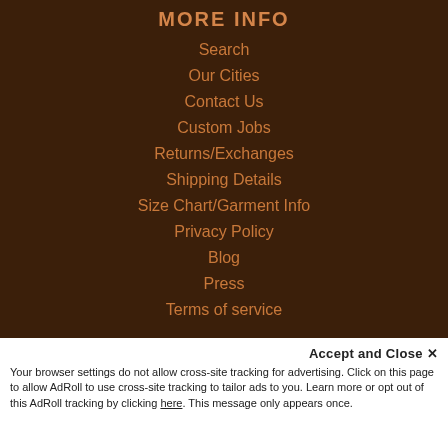MORE INFO
Search
Our Cities
Contact Us
Custom Jobs
Returns/Exchanges
Shipping Details
Size Chart/Garment Info
Privacy Policy
Blog
Press
Terms of service
SIGN UP FOR OUR NEWSLETTER
Accept and Close ✕
Your browser settings do not allow cross-site tracking for advertising. Click on this page to allow AdRoll to use cross-site tracking to tailor ads to you. Learn more or opt out of this AdRoll tracking by clicking here. This message only appears once.